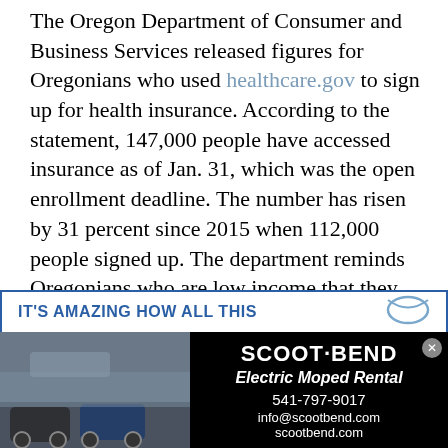The Oregon Department of Consumer and Business Services released figures for Oregonians who used healthcare.gov to sign up for health insurance. According to the statement, 147,000 people have accessed insurance as of Jan. 31, which was the open enrollment deadline. The number has risen by 31 percent since 2015 when 112,000 people signed up. The department reminds Oregonians who are low income that they are eligible for reduced cost or free healthcare through Oregon's Medicaid program, the Oregon Health Care plan. People who qualify for this service can apply at any time during the year. If individuals missed the open enrollment deadline, they may be able to apply for a special enrollment through healthcare.gov.
[Figure (infographic): Advertisement banner for Scoot Bend Electric Moped Rental. Top bar with blue border showing 'IT'S AMAZING HOW ALL THIS' in blue bold text and an envelope icon. Below is a split image: left side shows a photo of electric mopeds/scooters parked outside, right side is black background with Scoot Bend logo, 'Electric Moped Rental', phone 541-797-9017, info@scootbend.com, scootbend.com]